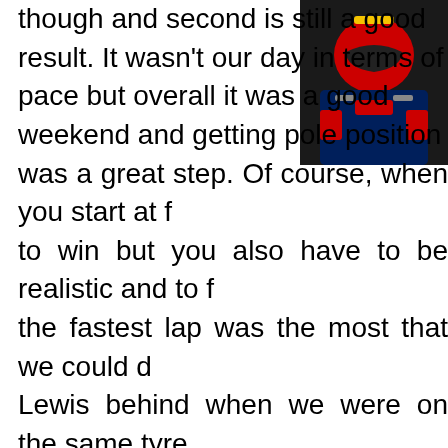[Figure (photo): Photo of a Formula 1 driver in Red Bull Racing gear, wearing a race suit and helmet visible at top right corner of the page]
though and second is still a good result. It wasn't our day in terms of pace but overall it was a good weekend and getting pole position was a great step. Of course, when you start at the front you want to win but you also have to be realistic and to finish second with the fastest lap was the most that we could do. I was keeping Lewis behind when we were on the same tyres but when he built the gap to third, he had the option to do a second stop and that worked out for him. I was trying to survive out front and manage my tyres but when he was closing in by one or two seconds per lap there wasn't much I could do. He closed the gap so fast with fresh tyres that I wasn't surprised he managed to pass me. He then pitted to get the fastest lap, which is one I had set so I'm of course happy to get that. No regrets, we tried everything we could. It was a good weekend for us and going into the break with a good feeling as we're getti